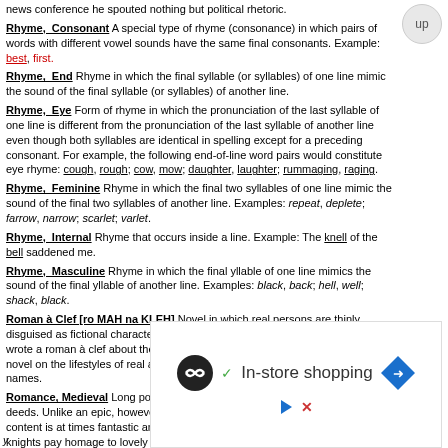news conference he spouted nothing but political rhetoric.
Rhyme, Consonant A special type of rhyme (consonance) in which pairs of words with different vowel sounds have the same final consonants. Example: best, first.
Rhyme, End Rhyme in which the final syllable (or syllables) of one line mimic the sound of the final syllable (or syllables) of another line.
Rhyme, Eye Form of rhyme in which the pronunciation of the last syllable of one line is different from the pronunciation of the last syllable of another line even though both syllables are identical in spelling except for a preceding consonant. For example, the following end-of-line word pairs would constitute eye rhyme: cough, rough; cow, mow; daughter, laughter; rummaging, raging.
Rhyme, Feminine Rhyme in which the final two syllables of one line mimic the sound of the final two syllables of another line. Examples: repeat, deplete; farrow, narrow; scarlet; varlet.
Rhyme, Internal Rhyme that occurs inside a line. Example: The knell of the bell saddened me.
Rhyme, Masculine Rhyme in which the final yllable of one line mimics the sound of the final yllable of another line. Examples: black, back; hell, well; shack, black.
Roman à Clef [ro MAH na KLEH] Novel in which real persons are thinly disguised as fictional characters with fictional names. For example, if an autho wrote a roman à clef about the private lives of movie stars, he would base the novel on the lifestyles of real actors and actresses but give them fictitious names.
Romance, Medieval Long poem resembling an epic in its focus on heroic deeds. Unlike an epic, however, a medieval romance is light in tone, and its content is at times fantastic and magical. In a medieval romance chivalrous knights pay homage to lovely ladies. The knights are often pure in heart and soul, although sorely tempted by the wiles of beautiful women. There may be merriment and singing. An example of a medieval romance is Sir Gawain and the Green Knight.
Romanticism In literature, a movement that championed imagination and
[Figure (other): Advertisement banner showing In-store shopping with icons]